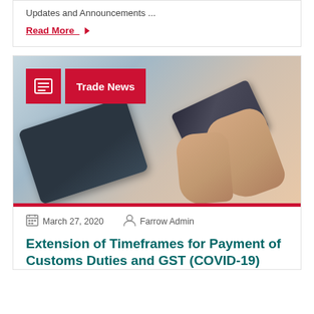Updates and Announcements ...
Read More ▶
[Figure (photo): Photo of hands holding a credit card and touching a tablet device]
Trade News
March 27, 2020   Farrow Admin
Extension of Timeframes for Payment of Customs Duties and GST (COVID-19)